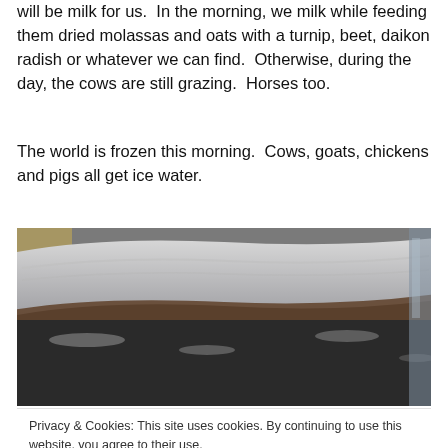will be milk for us.  In the morning, we milk while feeding them dried molassas and oats with a turnip, beet, daikon radish or whatever we can find.  Otherwise, during the day, the cows are still grazing.  Horses too.
The world is frozen this morning.  Cows, goats, chickens and pigs all get ice water.
[Figure (photo): Close-up photograph of a frozen water trough or container with a thick arc of ice along the rim, partially frozen water visible below.]
Privacy & Cookies: This site uses cookies. By continuing to use this website, you agree to their use.
To find out more, including how to control cookies, see here: Cookie Policy
[Figure (photo): Partial photo at bottom of page, appears to be another outdoor farm scene.]